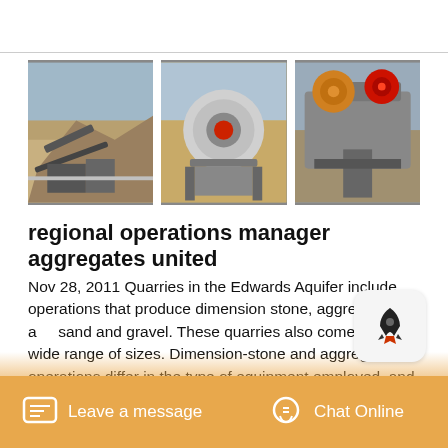[Figure (photo): Three photos of quarry/aggregate mining equipment and operations side by side]
regional operations manager aggregates united
Nov 28, 2011 Quarries in the Edwards Aquifer include operations that produce dimension stone, aggregate, and sand and gravel. These quarries also come in a wide range of sizes. Dimension-stone and aggregate operations differ in the type of equipment employed, and Overview Aggregate company seeks a Regional Operations Manager to oversee the operations of multiple quarries and sand plants.
Leave a message | Chat Online